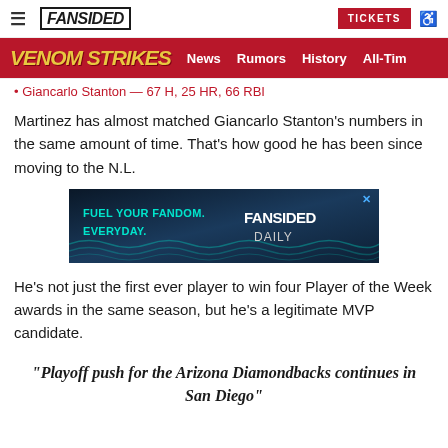FanSided | TICKETS
VENOM STRIKES | News | Rumors | History | All-Time
Giancarlo Stanton — 67 H, 25 HR, 66 RBI
Martinez has almost matched Giancarlo Stanton's numbers in the same amount of time. That's how good he has been since moving to the N.L.
[Figure (infographic): FanSided Daily ad banner: FUEL YOUR FANDOM. EVERYDAY. FANSIDED DAILY]
He's not just the first ever player to win four Player of the Week awards in the same season, but he's a legitimate MVP candidate.
"Playoff push for the Arizona Diamondbacks continues in San Diego"